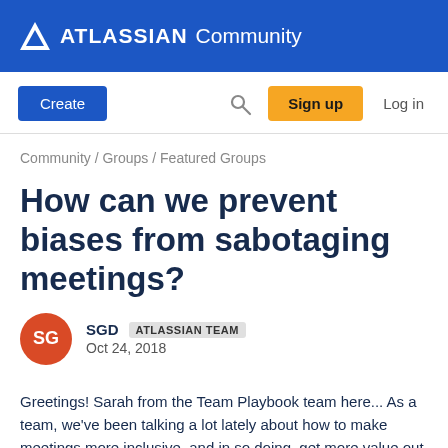ATLASSIAN Community
[Figure (screenshot): Navigation bar with Create button, search icon, Sign up button, and Log in link]
Community / Groups / Featured Groups
How can we prevent biases from sabotaging meetings?
SGD  ATLASSIAN TEAM
Oct 24, 2018
Greetings! Sarah from the Team Playbook team here... As a team, we've been talking a lot lately about how to make meetings more inclusive, and in so doing, get more value out of them.
Introverts, remote workers, women, and people of color often struggle to be heard in meetings. Why? Because of unconscious